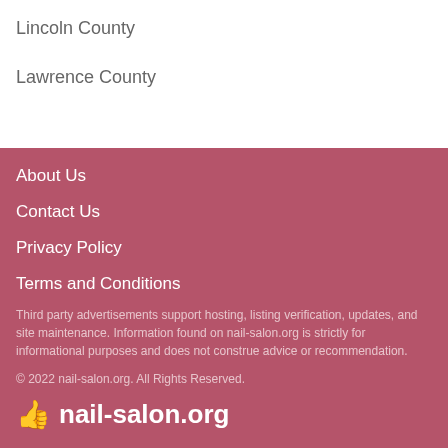Lincoln County
Lawrence County
About Us
Contact Us
Privacy Policy
Terms and Conditions
Third party advertisements support hosting, listing verification, updates, and site maintenance. Information found on nail-salon.org is strictly for informational purposes and does not construe advice or recommendation.
© 2022 nail-salon.org. All Rights Reserved.
👆 nail-salon.org